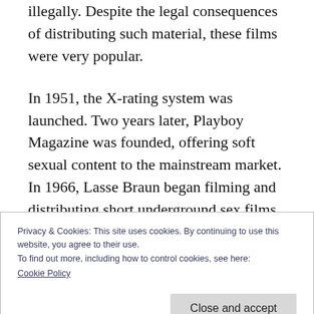illegally. Despite the legal consequences of distributing such material, these films were very popular.
In 1951, the X-rating system was launched. Two years later, Playboy Magazine was founded, offering soft sexual content to the mainstream market. In 1966, Lasse Braun began filming and distributing short underground sex films. Despite the legal troubles he faced, his films were very popular in
Privacy & Cookies: This site uses cookies. By continuing to use this website, you agree to their use.
To find out more, including how to control cookies, see here:
Cookie Policy
Close and accept
reducing the number of prosecutions of porn